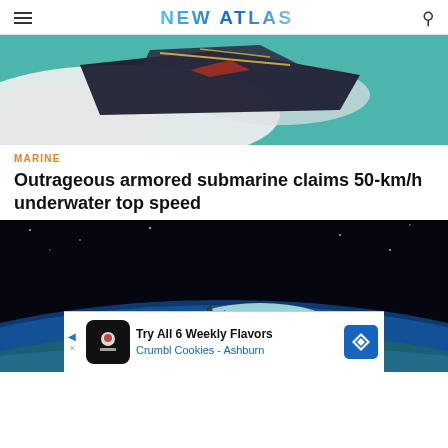NEW ATLAS
[Figure (photo): Aerial photo of a dark angular armored submarine/watercraft on white waves and turquoise water]
MARINE
Outrageous armored submarine claims 50-km/h underwater top speed
[Figure (photo): Rendering of a hypersonic missile or vehicle flying above Earth's atmosphere with glowing engine]
Try All 6 Weekly Flavors Crumbl Cookies - Ashburn